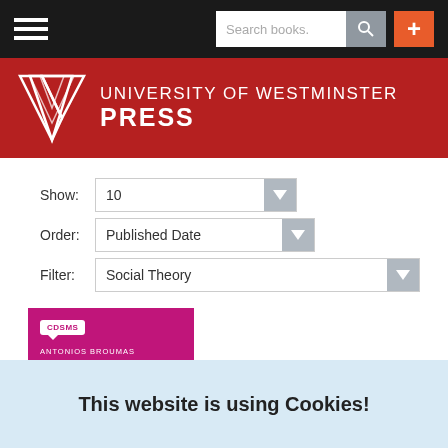[Figure (screenshot): University of Westminster Press website navigation bar with hamburger menu, search box, and add button]
[Figure (logo): University of Westminster Press logo with stylized W mark on dark red/crimson banner]
Show: 10
Order: Published Date
Filter: Social Theory
[Figure (photo): Book cover: Intellectual Commons and the Law by Antonios Broumas, magenta/pink cover with CDSMS badge]
This website is using Cookies!